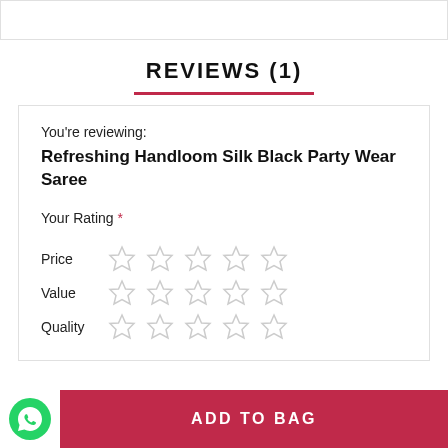REVIEWS (1)
You're reviewing:
Refreshing Handloom Silk Black Party Wear Saree
Your Rating *
[Figure (other): Star rating widget with three rows: Price, Value, Quality, each with 5 empty stars]
ADD TO BAG